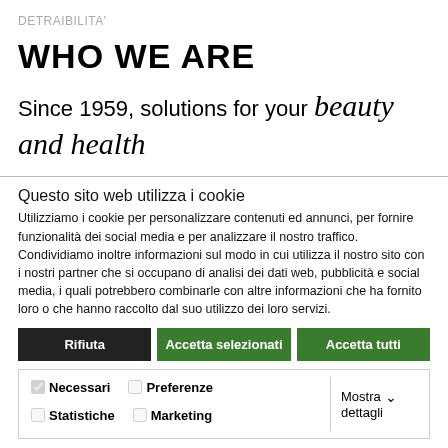DETRAIBILITA'
WHO WE ARE
Since 1959, solutions for your beauty and health
Questo sito web utilizza i cookie
Utilizziamo i cookie per personalizzare contenuti ed annunci, per fornire funzionalità dei social media e per analizzare il nostro traffico. Condividiamo inoltre informazioni sul modo in cui utilizza il nostro sito con i nostri partner che si occupano di analisi dei dati web, pubblicità e social media, i quali potrebbero combinarle con altre informazioni che ha fornito loro o che hanno raccolto dal suo utilizzo dei loro servizi.
Rifiuta
Accetta selezionati
Accetta tutti
Necessari   Preferenze   Statistiche   Marketing   Mostra dettagli